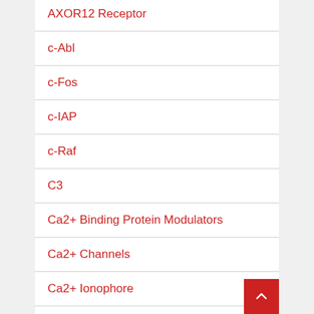AXOR12 Receptor
c-Abl
c-Fos
c-IAP
c-Raf
C3
Ca2+ Binding Protein Modulators
Ca2+ Channels
Ca2+ Ionophore